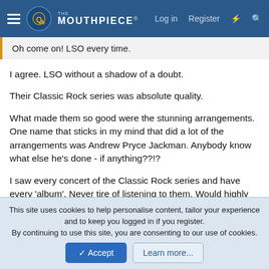The Mouthpiece | Log in  Register
Oh come on! LSO every time.
I agree. LSO without a shadow of a doubt.
Their Classic Rock series was absolute quality.
What made them so good were the stunning arrangements. One name that sticks in my mind that did a lot of the arrangements was Andrew Pryce Jackman. Anybody know what else he's done - if anything??!?
I saw every concert of the Classic Rock series and have every 'album'. Never tire of listening to them. Would highly recommend those - although I'm not sure you can still get them.
This site uses cookies to help personalise content, tailor your experience and to keep you logged in if you register.
By continuing to use this site, you are consenting to our use of cookies.